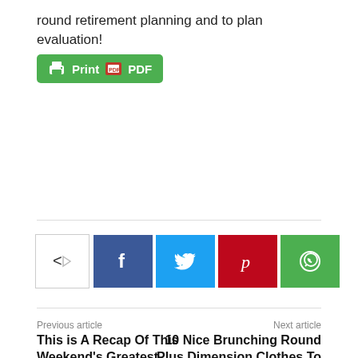round retirement planning and to plan evaluation!
[Figure (other): Print / PDF button — a green rounded button with printer icon and 'Print' text, followed by PDF icon and 'PDF' text]
[Figure (other): Social share row: share icon box with arrow, then Facebook (f), Twitter (bird), Pinterest (p), WhatsApp (phone) buttons]
Previous article
This is A Recap Of This Weekend's Greatest Festivals & Concert events!
Next article
10 Nice Brunching Round Plus Dimension Clothes To Rock